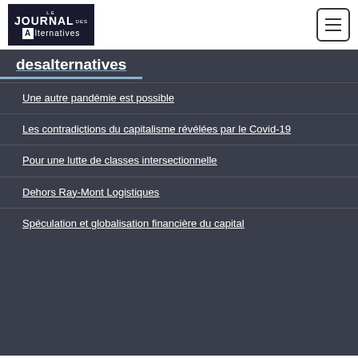Le Journal des Alternatives
desAlternatives
Une autre pandémie est possible
Les contradictions du capitalisme révélées par le Covid-19
Pour une lutte de classes intersectionnelle
Dehors Ray-Mont Logistiques
Spéculation et globalisation financière du capital